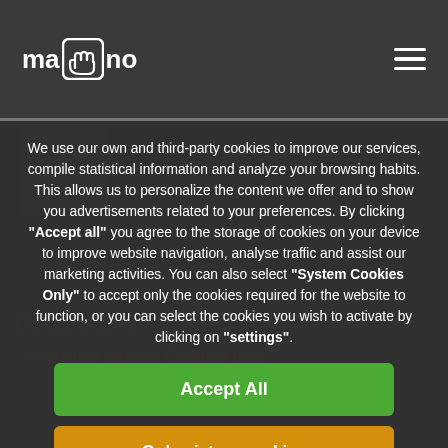mano
We use our own and third-party cookies to improve our services, compile statistical information and analyze your browsing habits. This allows us to personalize the content we offer and to show you advertisements related to your preferences. By clicking "Accept all" you agree to the storage of cookies on your device to improve website navigation, analyse traffic and assist our marketing activities. You can also select "System Cookies Only" to accept only the cookies required for the website to function, or you can select the cookies you wish to activate by clicking on "settings".
Accept All
Only sistem cookies
Configuration